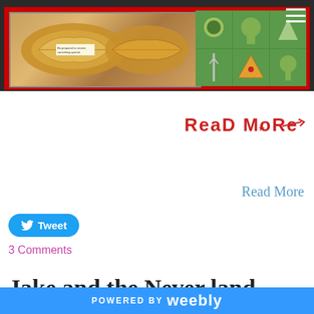[Figure (screenshot): Website header banner with dark background, showing a collage image with fortune cookies on the left and TMNT (Teenage Mutant Ninja Turtles) grid on the right, with a hamburger menu icon in the top right corner]
[Figure (illustration): Red decorative 'READ MORE' text with arrow graphic in handwritten style font]
Read More
[Figure (screenshot): Twitter Tweet button - blue rounded button with Twitter bird icon and 'Tweet' text]
3 Comments
Jake and the Never land Pirates
POWERED BY weebly